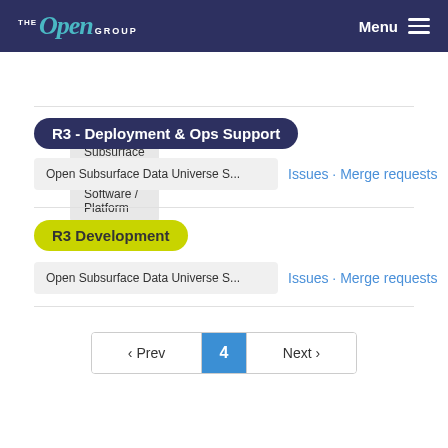The Open Group | Menu
Open Subsurface Data Universe Software / Platform
R3 - Deployment & Ops Support
Open Subsurface Data Universe S...
Issues · Merge requests
R3 Development
Open Subsurface Data Universe S...
Issues · Merge requests
‹ Prev  4  Next ›